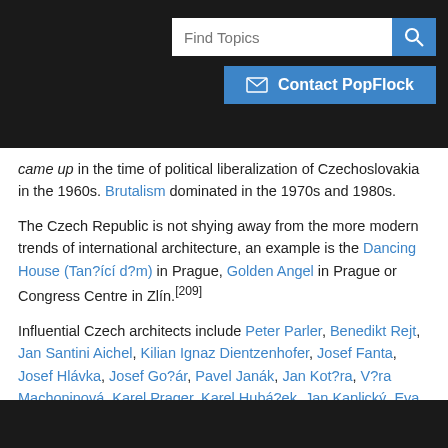[Figure (screenshot): Search bar with 'Find Topics' placeholder and blue search button, and a blue 'Contact PopFlock' button below]
came up in the time of political liberalization of Czechoslovakia in the 1960s. Brutalism dominated in the 1970s and 1980s.
The Czech Republic is not shying away from the more modern trends of international architecture, an example is the Dancing House (Tan?ící d?m) in Prague, Golden Angel in Prague or Congress Centre in Zlín.[209]
Influential Czech architects include Peter Parler, Benedikt Rejt, Jan Santini Aichel, Kilian Ignaz Dientzenhofer, Josef Fanta, Josef Hlávka, Josef Go?ár, Pavel Janák, Jan Kot?ra, V?ra Machoninová, Karel Prager, Karel Hubá?ek, Jan Kaplický, Eva Ji?i?ná or Josef Pleskot.
Literature